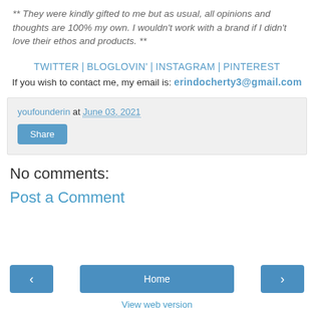** They were kindly gifted to me but as usual, all opinions and thoughts are 100% my own. I wouldn't work with a brand if I didn't love their ethos and products. **
TWITTER | BLOGLOVIN' | INSTAGRAM | PINTEREST
If you wish to contact me, my email is: erindocherty3@gmail.com
youfounderin at June 03, 2021
Share
No comments:
Post a Comment
< Home > View web version